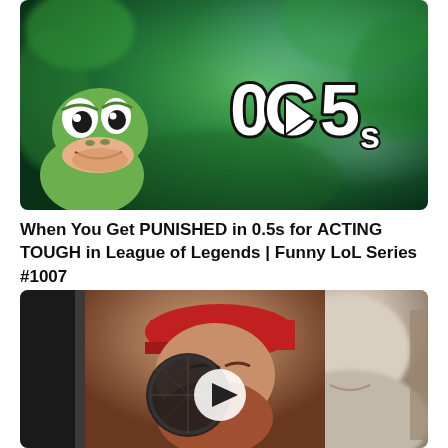[Figure (screenshot): YouTube video thumbnail showing a Pepe the Frog meme on a green blurred background with the text '0C5s' (0.5s) displayed in large white bold letters in the center]
When You Get PUNISHED in 0.5s for ACTING TOUGH in League of Legends | Funny LoL Series #1007
[Figure (screenshot): YouTube video thumbnail showing two people near a microphone in a studio setting, with a white play button overlay in the center]